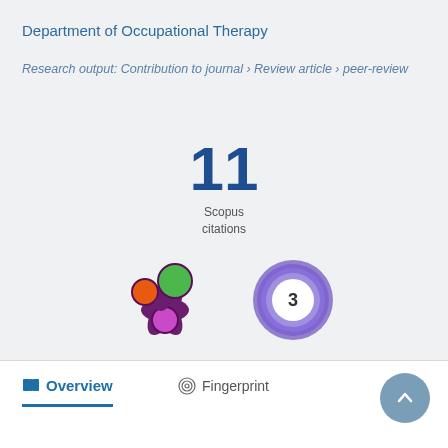Department of Occupational Therapy
Research output: Contribution to journal › Review article › peer-review
11 Scopus citations
[Figure (infographic): Altmetric donut badge and PlumX metrics icon showing 3 citations]
Overview   Fingerprint